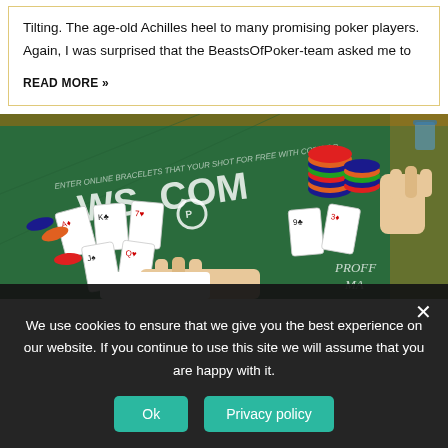Tilting. The age-old Achilles heel to many promising poker players. Again, I was surprised that the BeastsOfPoker-team asked me to
READ MORE »
[Figure (photo): Photo of a poker table with cards spread out, poker chips stacked, and players' hands visible. The green felt table has WSOP.COM branding text on it. Text on felt reads 'ENTER ONLINE BRACELETS THAT YOUR SHOT FOR FREE WITH CODE GO...' and 'PROFF' and 'MA' partially visible in corner.]
We use cookies to ensure that we give you the best experience on our website. If you continue to use this site we will assume that you are happy with it.
Ok
Privacy policy